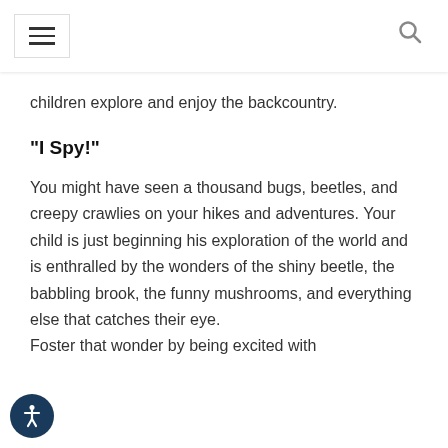Navigation bar with hamburger menu and search icon
children explore and enjoy the backcountry.
“I Spy!”
You might have seen a thousand bugs, beetles, and creepy crawlies on your hikes and adventures. Your child is just beginning his exploration of the world and is enthralled by the wonders of the shiny beetle, the babbling brook, the funny mushrooms, and everything else that catches their eye.
Foster that wonder by being excited with